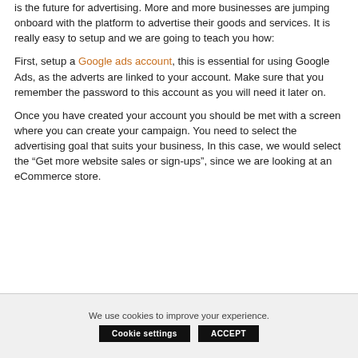is the future for advertising. More and more businesses are jumping onboard with the platform to advertise their goods and services. It is really easy to setup and we are going to teach you how:
First, setup a Google ads account, this is essential for using Google Ads, as the adverts are linked to your account. Make sure that you remember the password to this account as you will need it later on.
Once you have created your account you should be met with a screen where you can create your campaign. You need to select the advertising goal that suits your business, In this case, we would select the “Get more website sales or sign-ups”, since we are looking at an eCommerce store.
We use cookies to improve your experience.